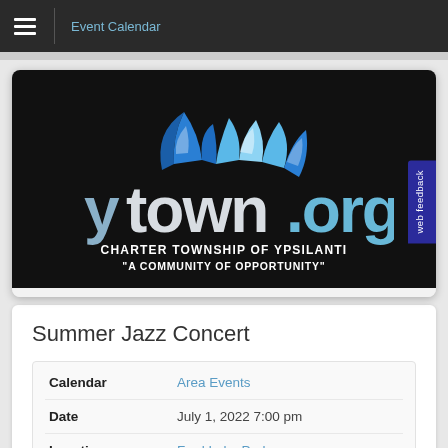Event Calendar
[Figure (logo): ytown.org logo with Charter Township of Ypsilanti branding on black background. Blue and silver arc graphic above the text 'ytown.org' in large letters, with 'CHARTER TOWNSHIP OF YPSILANTI' and '"A COMMUNITY OF OPPORTUNITY"' below.]
Summer Jazz Concert
| Field | Value |
| --- | --- |
| Calendar | Area Events |
| Date | July 1, 2022 7:00 pm |
| Location | Ford Lake Park |